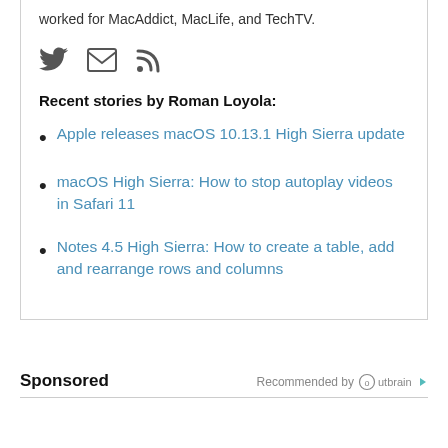worked for MacAddict, MacLife, and TechTV.
[Figure (infographic): Three social media icons: Twitter bird, email envelope, RSS feed symbol]
Recent stories by Roman Loyola:
Apple releases macOS 10.13.1 High Sierra update
macOS High Sierra: How to stop autoplay videos in Safari 11
Notes 4.5 High Sierra: How to create a table, add and rearrange rows and columns
Sponsored
Recommended by Outbrain